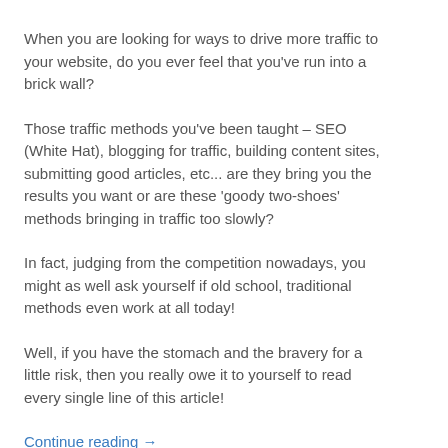When you are looking for ways to drive more traffic to your website, do you ever feel that you've run into a brick wall?
Those traffic methods you've been taught – SEO (White Hat), blogging for traffic, building content sites, submitting good articles, etc... are they bring you the results you want or are these 'goody two-shoes' methods bringing in traffic too slowly?
In fact, judging from the competition nowadays, you might as well ask yourself if old school, traditional methods even work at all today!
Well, if you have the stomach and the bravery for a little risk, then you really owe it to yourself to read every single line of this article!
Continue reading →